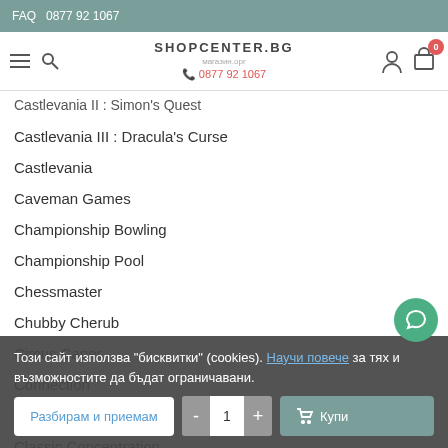FAQ  0877 92 1067
[Figure (logo): SHOPCENTER.BG logo with phone number 0877 92 1067]
Castlevania II : Simon's Quest
Castlevania III : Dracula's Curse
Castlevania
Caveman Games
Championship Bowling
Championship Pool
Chessmaster
Chubby Cherub
Circus Caper
Connection
Clash at Demonhead
Classic Concentration
Cliffhanger
Clu Clu Land
Този сайт използва "бисквитки" (cookies). Научи повече за тях и възможностите да бъдат ограничавани.